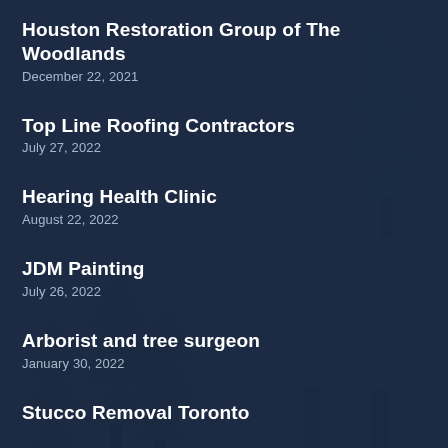Houston Restoration Group of The Woodlands
December 22, 2021
Top Line Roofing Contractors
July 27, 2022
Hearing Health Clinic
August 22, 2022
JDM Painting
July 26, 2022
Arborist and tree surgeon
January 30, 2022
Stucco Removal Toronto